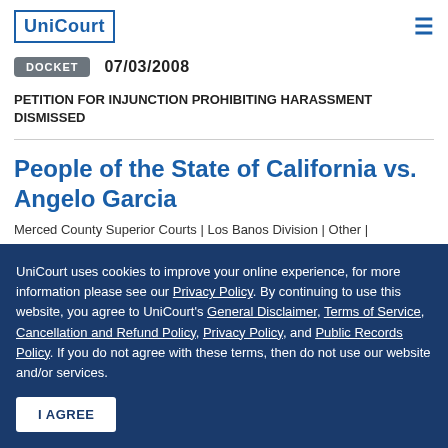UniCourt
DOCKET   07/03/2008
PETITION FOR INJUNCTION PROHIBITING HARASSMENT DISMISSED
People of the State of California vs. Angelo Garcia
Merced County Superior Courts | Los Banos Division | Other |
UniCourt uses cookies to improve your online experience, for more information please see our Privacy Policy. By continuing to use this website, you agree to UniCourt's General Disclaimer, Terms of Service, Cancellation and Refund Policy, Privacy Policy, and Public Records Policy. If you do not agree with these terms, then do not use our website and/or services.
I AGREE